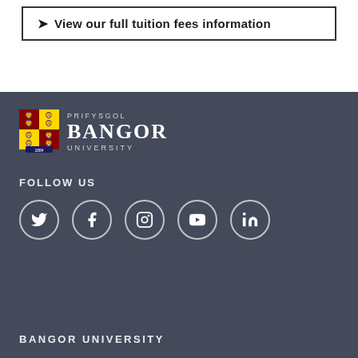View our full tuition fees information
[Figure (logo): Bangor University crest logo with PRIFYSGOL BANGOR UNIVERSITY text]
FOLLOW US
[Figure (infographic): Row of social media icons in circles: Twitter, Facebook, Instagram, YouTube, LinkedIn]
BANGOR UNIVERSITY